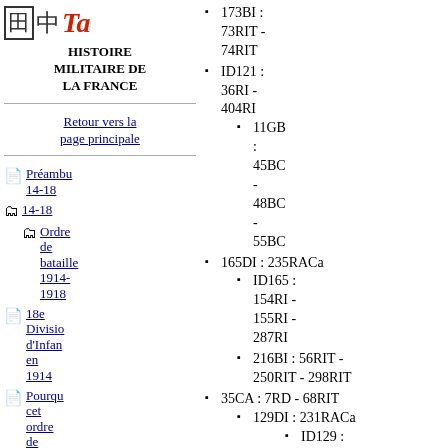[Figure (logo): Website logo with grid icon, kanji character, and stylized red 'Ta' text]
Histoire militaire de la France
Retour vers la page principale
Préambu 14-18
Ordre de bataille 1914-1918
18e Division d'Infanterie en 1914
Pourquoi cet ordre de bataille ?
Histoire des...
173BI : 73RIT - 74RIT
ID121 : 36RI - 404RI
11GB : 45BC - 48BC - 55BC
165DI : 235RACa
ID165 : 154RI - 155RI - 287RI
216BI : 56RIT - 250RIT - 298RIT
35CA : 7RD - 68RIT
129DI : 231RACa
ID129 : 297RI - 359RI
12GB : 106BC...